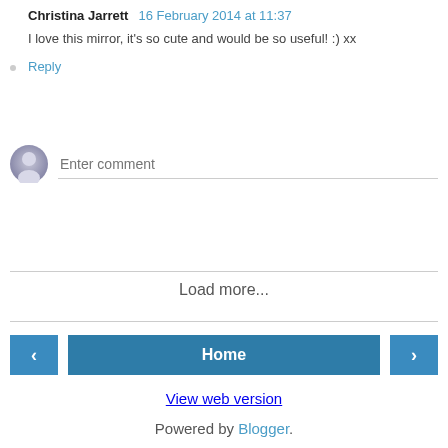Christina Jarrett  16 February 2014 at 11:37
I love this mirror, it's so cute and would be so useful! :) xx
Reply
[Figure (other): Comment input area with avatar icon and 'Enter comment' placeholder text field]
Load more...
Home
View web version
Powered by Blogger.